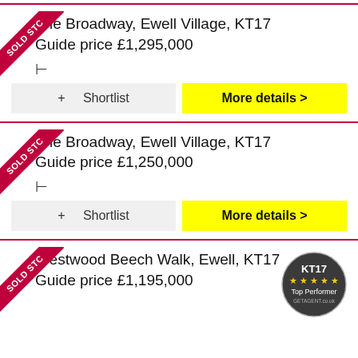The Broadway, Ewell Village, KT17
Guide price £1,295,000
+ Shortlist | More details >
The Broadway, Ewell Village, KT17
Guide price £1,250,000
+ Shortlist | More details >
Westwood Beech Walk, Ewell, KT17
Guide price £1,195,000
[Figure (logo): KT17 Top Performer badge from GetAgent.co.uk — circular dark badge with star rating]